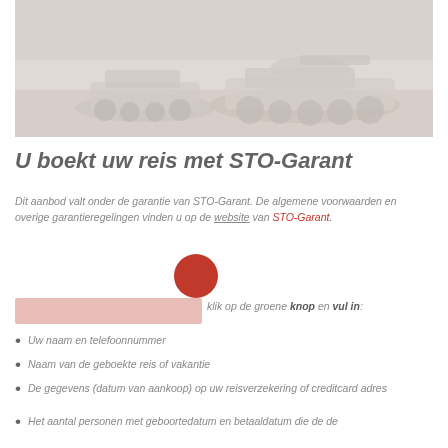[Figure (photo): Faded historical photograph of a military or vintage vehicle (tank/truck), light gray-beige tones.]
U boekt uw reis met STO-Garant
Dit aanbod valt onder de garantie van STO-Garant. De algemene voorwaarden en overige garantieregelingen vinden u op de website van STO-Garant.
klik op de groene knop en vul in:
Uw naam en telefoonnummer
Naam van de geboekte reis of vakantie
De gegevens (datum van aankoop) op uw reisverzekering of creditcard
Het aantal personen met geboortedatum en betaaldatum die de de